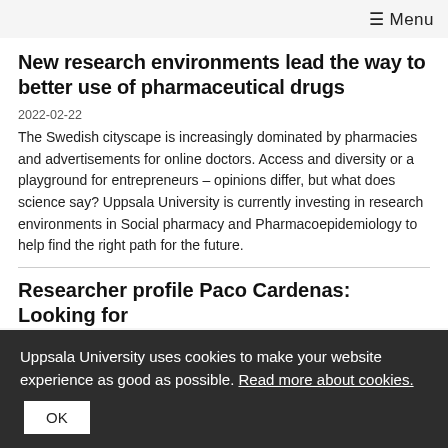≡ Menu
New research environments lead the way to better use of pharmaceutical drugs
2022-02-22
The Swedish cityscape is increasingly dominated by pharmacies and advertisements for online doctors. Access and diversity or a playground for entrepreneurs – opinions differ, but what does science say? Uppsala University is currently investing in research environments in Social pharmacy and Pharmacoepidemiology to help find the right path for the future.
Researcher profile Paco Cardenas: Looking for
Uppsala University uses cookies to make your website experience as good as possible. Read more about cookies.